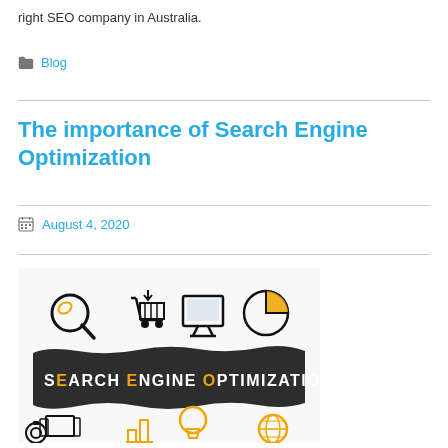right SEO company in Australia.
Blog
The importance of Search Engine Optimization
August 4, 2020
[Figure (illustration): Search Engine Optimization infographic with icons including magnifying glass, shopping cart, computer monitor, pie chart, books, lightbulb, globe, bar chart, and gear on a dark torn paper banner reading SEARCH ENGINE OPTIMIZATION]